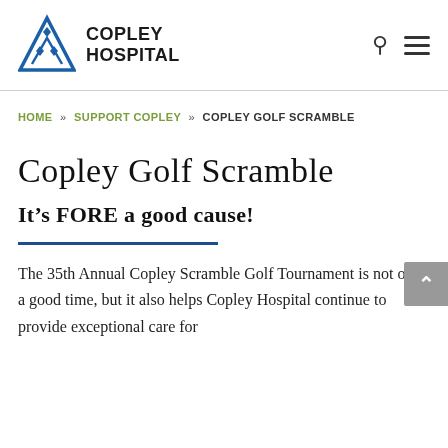Copley Hospital
HOME » SUPPORT COPLEY » COPLEY GOLF SCRAMBLE
Copley Golf Scramble
It's FORE a good cause!
The 35th Annual Copley Scramble Golf Tournament is not only a good time, but it also helps Copley Hospital continue to provide exceptional care for